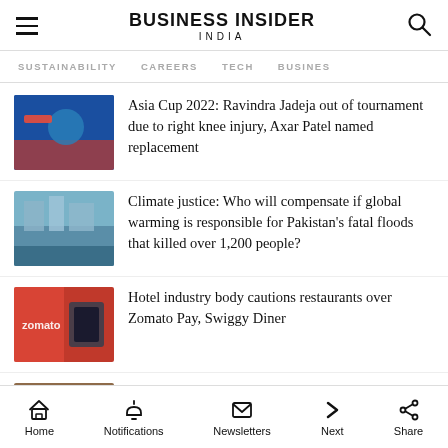BUSINESS INSIDER INDIA
SUSTAINABILITY
CAREERS
TECH
BUSINES
Asia Cup 2022: Ravindra Jadeja out of tournament due to right knee injury, Axar Patel named replacement
Climate justice: Who will compensate if global warming is responsible for Pakistan's fatal floods that killed over 1,200 people?
Hotel industry body cautions restaurants over Zomato Pay, Swiggy Diner
Hiring in the IT sector went down by 10% in August, says report
Home  Notifications  Newsletters  Next  Share